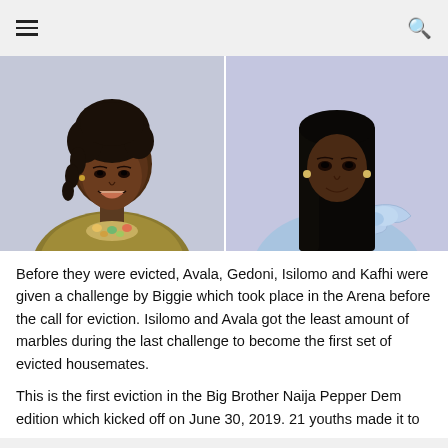☰  🔍
[Figure (photo): Two side-by-side photos of women. Left: a smiling woman with curly updo hair, wearing a gold/olive sparkly top and a floral necklace. Right: a woman with long straight black hair, wearing a light blue one-shoulder dress with a bow, against a light purple background.]
Before they were evicted, Avala, Gedoni, Isilomo and Kafhi were given a challenge by Biggie which took place in the Arena before the call for eviction. Isilomo and Avala got the least amount of marbles during the last challenge to become the first set of evicted housemates.
This is the first eviction in the Big Brother Naija Pepper Dem edition which kicked off on June 30, 2019. 21 youths made it to